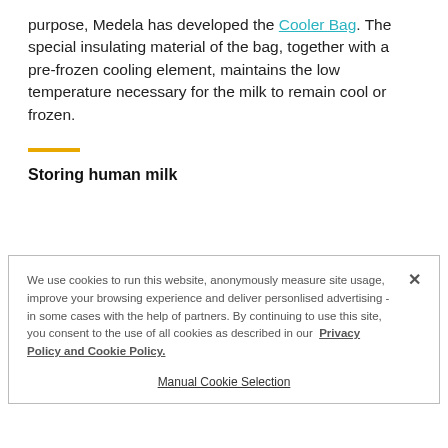purpose, Medela has developed the Cooler Bag. The special insulating material of the bag, together with a pre-frozen cooling element, maintains the low temperature necessary for the milk to remain cool or frozen.
Storing human milk
We use cookies to run this website, anonymously measure site usage, improve your browsing experience and deliver personlised advertising - in some cases with the help of partners. By continuing to use this site, you consent to the use of all cookies as described in our Privacy Policy and Cookie Policy.
Manual Cookie Selection